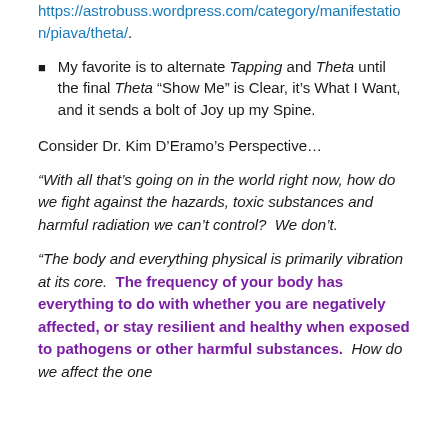https://astrobuss.wordpress.com/category/manifestation/piava/theta/.
My favorite is to alternate Tapping and Theta until the final Theta “Show Me” is Clear, it’s What I Want, and it sends a bolt of Joy up my Spine.
Consider Dr. Kim D’Eramo’s Perspective…
“With all that’s going on in the world right now, how do we fight against the hazards, toxic substances and harmful radiation we can’t control?  We don’t.
“The body and everything physical is primarily vibration at its core.  The frequency of your body has everything to do with whether you are negatively affected, or stay resilient and healthy when exposed to pathogens or other harmful substances.  How do we affect the one